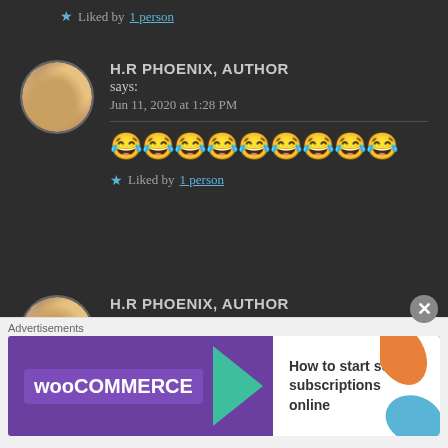★ Liked by 1 person
H.R PHOENIX, AUTHOR says: Jun 11, 2020 at 1:28 PM
😂😂😂😂😂😂😂😂😂
★ Liked by 1 person
H.R PHOENIX, AUTHOR says:
Advertisements
[Figure (other): WooCommerce advertisement banner: purple background with WooCommerce logo, green arrow, and text 'How to start selling subscriptions online']